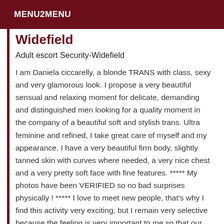MENU2MENU
Widefield
Adult escort Security-Widefield
I am Daniela ciccarelly, a blonde TRANS with class, sexy and very glamorous look. I propose a very beautiful sensual and relaxing moment for delicate, demanding and distinguished men looking for a quality moment in the company of a beautiful soft and stylish trans. Ultra feminine and refined, I take great care of myself and my appearance, I have a very beautiful firm body, slightly tanned skin with curves where needed, a very nice chest and a very pretty soft face with fine features. ***** My photos have been VERIFIED so no bad surprises physically ! ***** I love to meet new people, that's why I find this activity very exciting, but I remain very selective because the feeling is very important to me so that our meeting will go as well as possible. I like respectful men, and nothing better than spending an evening or a few